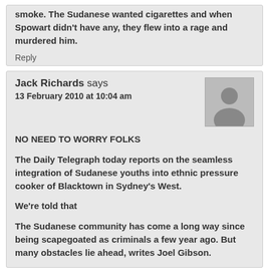smoke. The Sudanese wanted cigarettes and when Spowart didn't have any, they flew into a rage and murdered him.
Reply
Jack Richards says
13 February 2010 at 10:04 am
NO NEED TO WORRY FOLKS
The Daily Telegraph today reports on the seamless integration of Sudanese youths into ethnic pressure cooker of Blacktown in Sydney's West.
We're told that
The Sudanese community has come a long way since being scapegoated as criminals a few year ago. But many obstacles lie ahead, writes Joel Gibson.